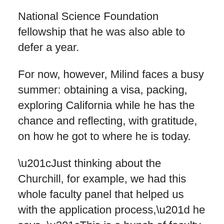National Science Foundation fellowship that he was also able to defer a year.
For now, however, Milind faces a busy summer: obtaining a visa, packing, exploring California while he has the chance and reflecting, with gratitude, on how he got to where he is today.
“Just thinking about the Churchill, for example, we had this whole faculty panel that helped us with the application process,” he says. “This is a bunch of faculty who come out, take time out of their busy schedules, review applications and give very useful feedback. I know that without the university, I had no chance to make it as far as I have. Thank you to everyone, including professors at NC State, my family